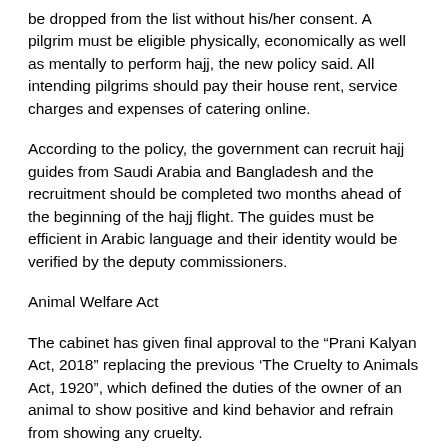be dropped from the list without his/her consent. A pilgrim must be eligible physically, economically as well as mentally to perform hajj, the new policy said. All intending pilgrims should pay their house rent, service charges and expenses of catering online.
According to the policy, the government can recruit hajj guides from Saudi Arabia and Bangladesh and the recruitment should be completed two months ahead of the beginning of the hajj flight. The guides must be efficient in Arabic language and their identity would be verified by the deputy commissioners.
Animal Welfare Act
The cabinet has given final approval to the “Prani Kalyan Act, 2018” replacing the previous ‘The Cruelty to Animals Act, 1920”, which defined the duties of the owner of an animal to show positive and kind behavior and refrain from showing any cruelty.
The law prohibited unnecessary killing of an animal through applying poison or keep an animal tightened for 24 hours depriving it from movement. Violators of the law will be liable to six months of simple imprisonment or fine of Taka 10,000 or